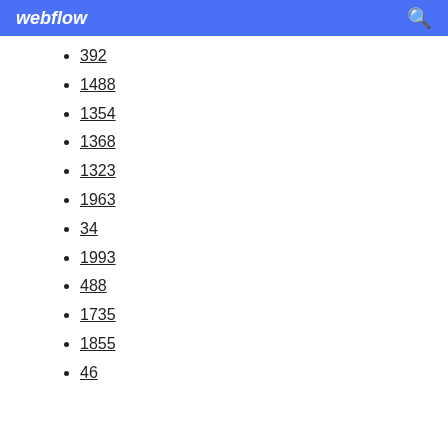webflow
392
1488
1354
1368
1323
1963
34
1993
488
1735
1855
46